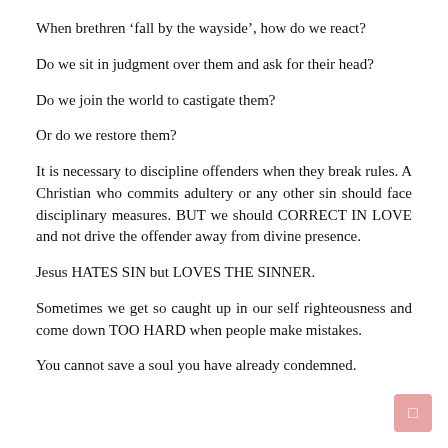When brethren ‘fall by the wayside’, how do we react?
Do we sit in judgment over them and ask for their head?
Do we join the world to castigate them?
Or do we restore them?
It is necessary to discipline offenders when they break rules. A Christian who commits adultery or any other sin should face disciplinary measures. BUT we should CORRECT IN LOVE and not drive the offender away from divine presence.
Jesus HATES SIN but LOVES THE SINNER.
Sometimes we get so caught up in our self righteousness and come down TOO HARD when people make mistakes.
You cannot save a soul you have already condemned.